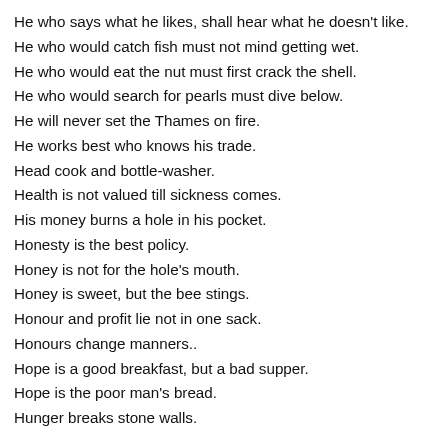He who says what he likes, shall hear what he doesn't like.
He who would catch fish must not mind getting wet.
He who would eat the nut must first crack the shell.
He who would search for pearls must dive below.
He will never set the Thames on fire.
He works best who knows his trade.
Head cook and bottle-washer.
Health is not valued till sickness comes.
His money burns a hole in his pocket.
Honesty is the best policy.
Honey is not for the hole's mouth.
Honey is sweet, but the bee stings.
Honour and profit lie not in one sack.
Honours change manners..
Hope is a good breakfast, but a bad supper.
Hope is the poor man's bread.
Hunger breaks stone walls.